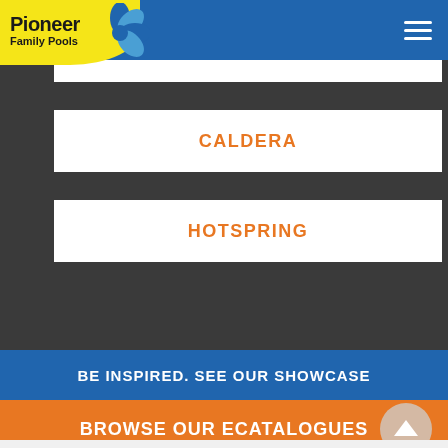[Figure (logo): Pioneer Family Pools logo with yellow background, blue flower/splash graphic, black bold text]
PLUG 'N PLAY
CALDERA
HOTSPRING
BE INSPIRED. SEE OUR SHOWCASE
BROWSE OUR ECATALOGUES